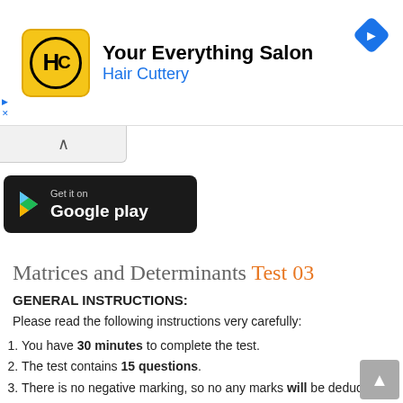[Figure (infographic): Hair Cuttery advertisement banner with yellow logo showing HC initials, title 'Your Everything Salon', subtitle 'Hair Cuttery' in blue, and blue diamond navigation icon in top right]
[Figure (logo): Google Play store badge - black button with Get it on Google play text and play logo]
Matrices and Determinants Test 03
GENERAL INSTRUCTIONS:
Please read the following instructions very carefully:
You have 30 minutes to complete the test.
The test contains 15 questions.
There is no negative marking, so no any marks will be deduct for a wrong answer.